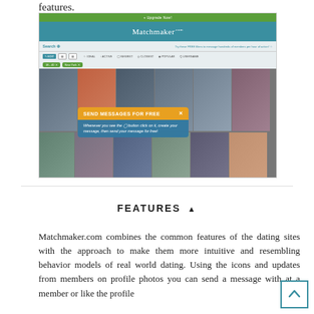features.
[Figure (screenshot): Screenshot of Matchmaker.com website showing the search page with profile photos, filter buttons, and a popup overlay reading 'SEND MESSAGES FOR FREE' with instructions about clicking the message button.]
FEATURES ▲
Matchmaker.com combines the common features of the dating sites with the approach to make them more intuitive and resembling behavior models of real world dating. Using the icons and updates from members on profile photos you can send a message with at a member or like the profile